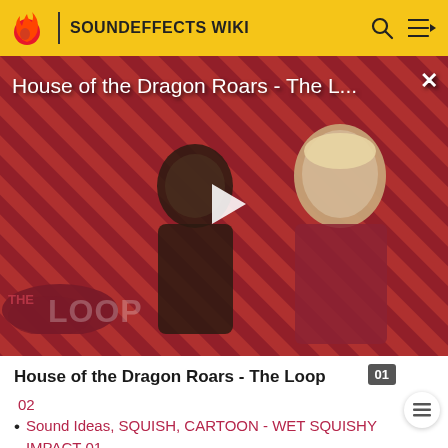SOUNDEFFECTS WIKI
[Figure (screenshot): Video thumbnail for 'House of the Dragon Roars - The L...' showing two characters on a diagonal striped background with a play button in the center and 'THE LOOP' logo overlay]
House of the Dragon Roars - The Loop
02
Sound Ideas, SQUISH, CARTOON - WET SQUISHY IMPACT 01